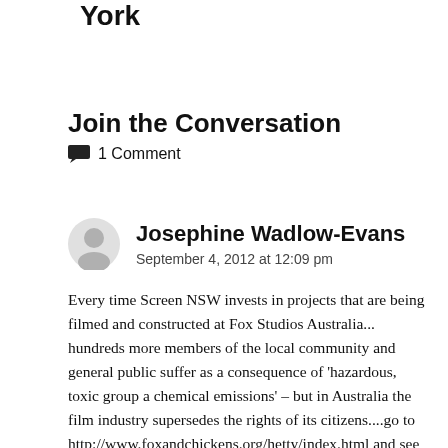York
Join the Conversation
1 Comment
Josephine Wadlow-Evans
September 4, 2012 at 12:09 pm
Every time Screen NSW invests in projects that are being filmed and constructed at Fox Studios Australia... hundreds more members of the local community and general public suffer as a consequence of 'hazardous, toxic group a chemical emissions' – but in Australia the film industry supersedes the rights of its citizens....go to http://www.foxandchickens.org/hetty/index.html and see the obituaries and see how favoured the industry is